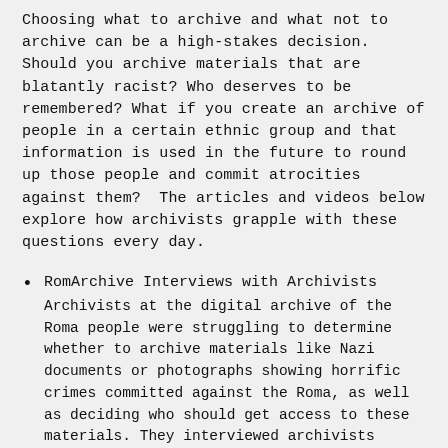Choosing what to archive and what not to archive can be a high-stakes decision. Should you archive materials that are blatantly racist? Who deserves to be remembered? What if you create an archive of people in a certain ethnic group and that information is used in the future to round up those people and commit atrocities against them? The articles and videos below explore how archivists grapple with these questions every day.
RomArchive Interviews with Archivists
Archivists at the digital archive of the Roma people were struggling to determine whether to archive materials like Nazi documents or photographs showing horrific crimes committed against the Roma, as well as deciding who should get access to these materials. They interviewed archivists throughout Germany to find out how they deal with these issues. [Videos are in German with English subtitles]
Race and the Digital Image Archivist -Kate Holterhoff
The author explores strategies and best practices for archiving challenging or offensive visual objects. How should digital image archivists approach the task of curating objects with the